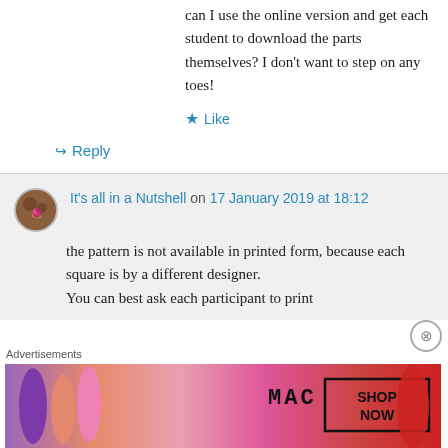can I use the online version and get each student to download the parts themselves? I don't want to step on any toes!
★ Like
↪ Reply
It's all in a Nutshell on 17 January 2019 at 18:12
the pattern is not available in printed form, because each square is by a different designer.
You can best ask each participant to print
[Figure (photo): MAC Cosmetics advertisement showing lipsticks in purple, pink, and red shades with SHOP NOW button]
Advertisements